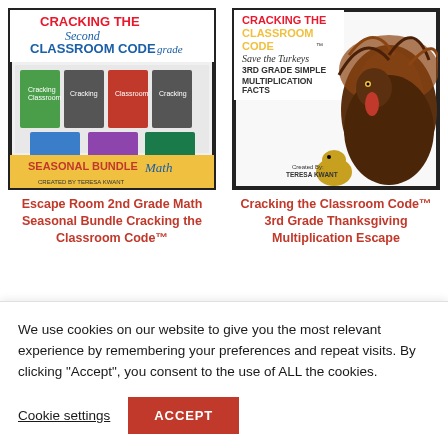[Figure (illustration): Escape Room 2nd Grade Math Seasonal Bundle Cracking the Classroom Code product cover image showing multiple booklets]
[Figure (illustration): Cracking the Classroom Code 3rd Grade Thanksgiving Multiplication Escape Room product cover featuring a turkey]
Escape Room 2nd Grade Math Seasonal Bundle Cracking the Classroom Code™
Cracking the Classroom Code™ 3rd Grade Thanksgiving Multiplication Escape
We use cookies on our website to give you the most relevant experience by remembering your preferences and repeat visits. By clicking "Accept", you consent to the use of ALL the cookies.